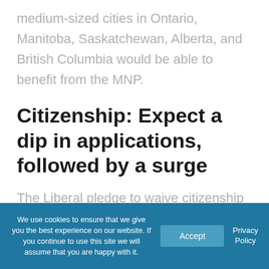medium-sized cities in Ontario, Manitoba, Saskatchewan, Alberta, and British Columbia would be able to benefit from the MNP.
Citizenship: Expect a dip in applications, followed by a surge
The Liberal pledge to waive citizenship fees for eligible permanent residents
We use cookies to ensure that we give you the best experience on our website. If you continue to use this site we will assume that you are happy with it.